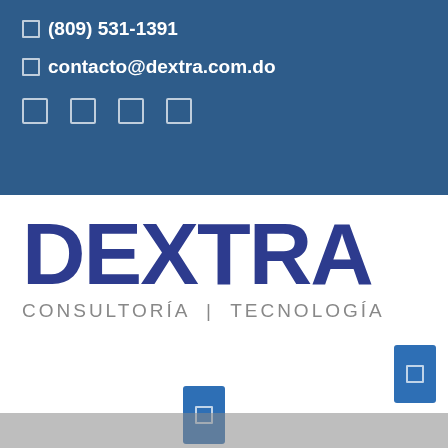☎ (809) 531-1391
✉ contacto@dextra.com.do
Social media icons (4 icon boxes)
[Figure (logo): DEXTRA logo in dark blue bold letters with tagline CONSULTORÍA | TECNOLOGÍA in grey]
[Figure (other): Blue button/widget on right side]
[Figure (other): Blue button/widget centered lower]
[Figure (photo): Partial photo at bottom of page, dark grey/brown tones]